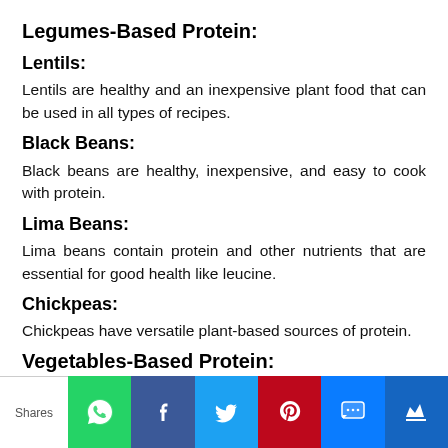Legumes-Based Protein:
Lentils:
Lentils are healthy and an inexpensive plant food that can be used in all types of recipes.
Black Beans:
Black beans are healthy, inexpensive, and easy to cook with protein.
Lima Beans:
Lima beans contain protein and other nutrients that are essential for good health like leucine.
Chickpeas:
Chickpeas have versatile plant-based sources of protein.
Vegetables-Based Protein:
[Figure (infographic): Social sharing bar with WhatsApp, Facebook, Twitter, Pinterest, SMS, and another button. Shows 'Shares' label on the left.]